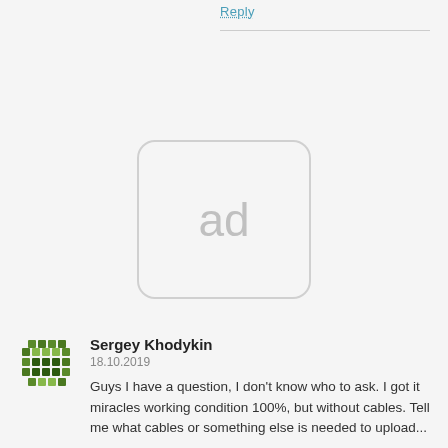Reply
[Figure (other): Advertisement placeholder box with rounded corners showing 'ad' text in gray]
Sergey Khodykin
18.10.2019
Guys I have a question, I don't know who to ask. I got it miracles working condition 100%, but without cables. Tell me what cables or something else is needed to upload...